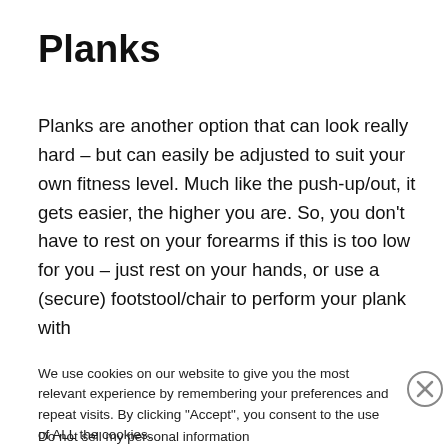Planks
Planks are another option that can look really hard – but can easily be adjusted to suit your own fitness level. Much like the push-up/out, it gets easier, the higher you are. So, you don't have to rest on your forearms if this is too low for you – just rest on your hands, or use a (secure) footstool/chair to perform your plank with
We use cookies on our website to give you the most relevant experience by remembering your preferences and repeat visits. By clicking "Accept", you consent to the use of ALL the cookies.
Do not sell my personal information
Advertisements
[Figure (infographic): Jetpack advertisement banner with green background, Jetpack logo on left and 'Back up your site' white button on right]